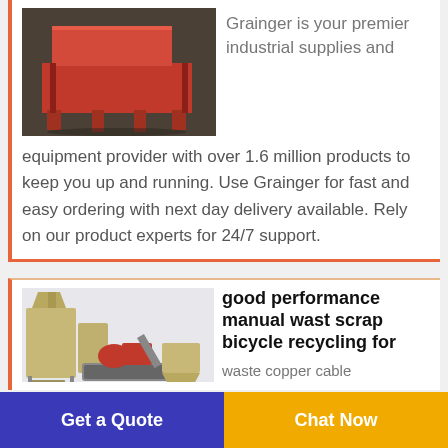[Figure (photo): Photo of a red industrial machine/equipment on a workshop floor]
Grainger is your premier industrial supplies and equipment provider with over 1.6 million products to keep you up and running. Use Grainger for fast and easy ordering with next day delivery available. Rely on our product experts for 24/7 support.
[Figure (photo): 3D rendering of a manual waste scrap bicycle/copper cable recycling machine system]
good performance manual wast scrap bicycle recycling for
waste copper cable
Get a Quote
Chat Now